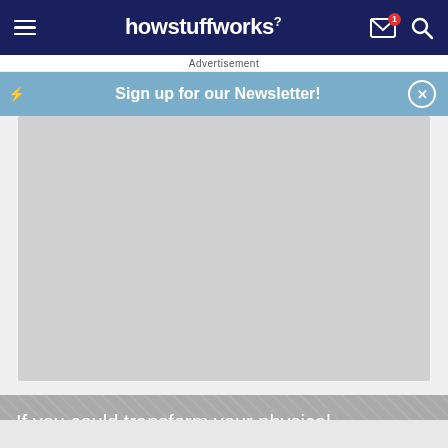howstuffworks
Advertisement
Sign up for our Newsletter!
[Figure (other): Gray advertisement placeholder box]
If you could transform your physical